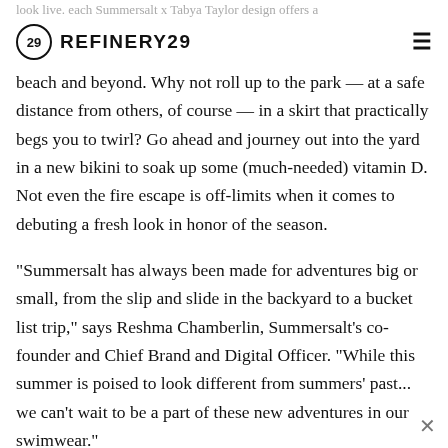look live. each Summersalt x Tabya Taylor design offers a
REFINERY29
beach and beyond. Why not roll up to the park — at a safe distance from others, of course — in a skirt that practically begs you to twirl? Go ahead and journey out into the yard in a new bikini to soak up some (much-needed) vitamin D. Not even the fire escape is off-limits when it comes to debuting a fresh look in honor of the season.
"Summersalt has always been made for adventures big or small, from the slip and slide in the backyard to a bucket list trip," says Reshma Chamberlin, Summersalt's co-founder and Chief Brand and Digital Officer. "While this summer is poised to look different from summers' past... we can't wait to be a part of these new adventures in our swimwear."